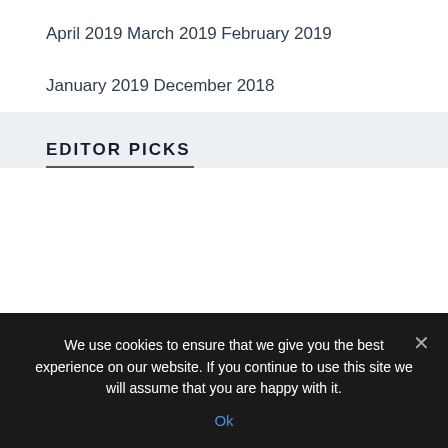April 2019
March 2019
February 2019
January 2019
December 2018
EDITOR PICKS
We use cookies to ensure that we give you the best experience on our website. If you continue to use this site we will assume that you are happy with it.
Ok